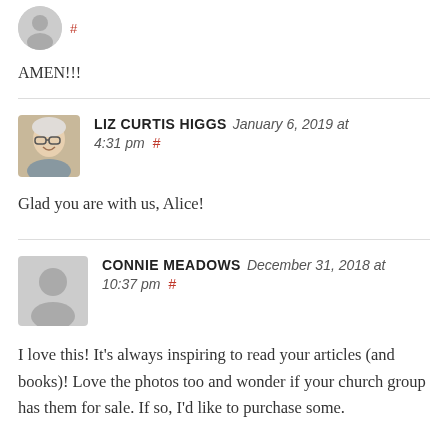[Figure (illustration): Small generic avatar silhouette with a red hash link next to it]
AMEN!!!
LIZ CURTIS HIGGS   January 6, 2019 at 4:31 pm #
[Figure (photo): Photo of Liz Curtis Higgs, a smiling woman with glasses and short white/grey hair]
Glad you are with us, Alice!
CONNIE MEADOWS   December 31, 2018 at 10:37 pm #
[Figure (illustration): Generic avatar silhouette for Connie Meadows]
I love this! It’s always inspiring to read your articles (and books)! Love the photos too and wonder if your church group has them for sale. If so, I’d like to purchase some.